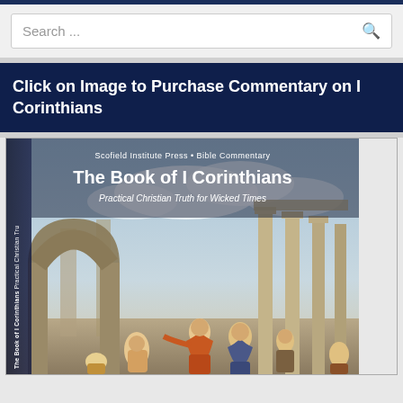Search ...
Click on Image to Purchase Commentary on I Corinthians
[Figure (illustration): Book cover for 'The Book of I Corinthians: Practical Christian Truth for Wicked Times' published by Scofield Institute Press, Bible Commentary. Cover shows a classical painting of ancient Roman ruins with columns and arch, with robed figures in the foreground. Spine text reads 'The Book of I Corinthians Practical Christian Tru...' in vertical text.]